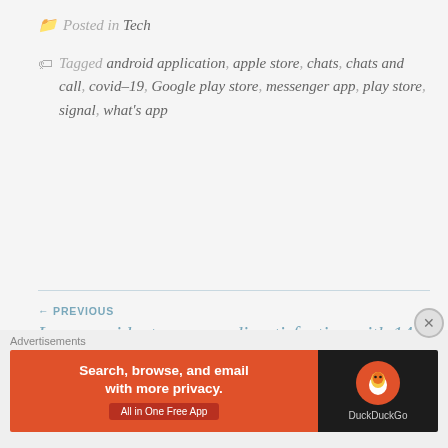Posted in Tech
Tagged android application, apple store, chats, chats and call, covid-19, Google play store, messenger app, play store, signal, what's app
← PREVIOUS
Lagos residents express dissatisfaction with 14-day lockdown extension
NEXT →
WHATSAPP TO ALLOW GROUP CALLS WITH MORE THAN 4 PARTICIPANTS
[Figure (screenshot): DuckDuckGo advertisement banner: 'Search, browse, and email with more privacy. All in One Free App' with DuckDuckGo logo on dark background]